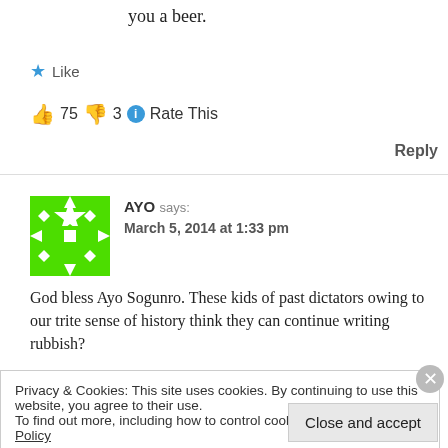you a beer.
★ Like
👍 75 👎 3 ℹ Rate This
Reply
AYO says: March 5, 2014 at 1:33 pm
God bless Ayo Sogunro. These kids of past dictators owing to our trite sense of history think they can continue writing rubbish?
Privacy & Cookies: This site uses cookies. By continuing to use this website, you agree to their use. To find out more, including how to control cookies, see here: Cookie Policy
Close and accept